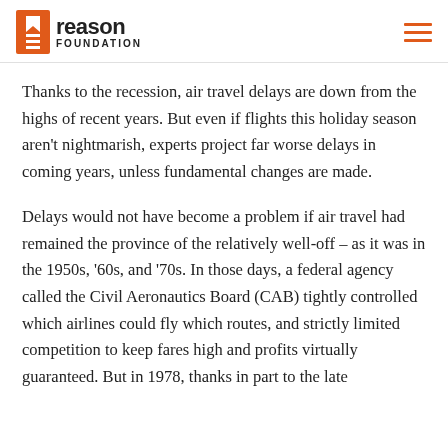Reason Foundation
Thanks to the recession, air travel delays are down from the highs of recent years. But even if flights this holiday season aren't nightmarish, experts project far worse delays in coming years, unless fundamental changes are made.
Delays would not have become a problem if air travel had remained the province of the relatively well-off – as it was in the 1950s, '60s, and '70s. In those days, a federal agency called the Civil Aeronautics Board (CAB) tightly controlled which airlines could fly which routes, and strictly limited competition to keep fares high and profits virtually guaranteed. But in 1978, thanks in part to the late